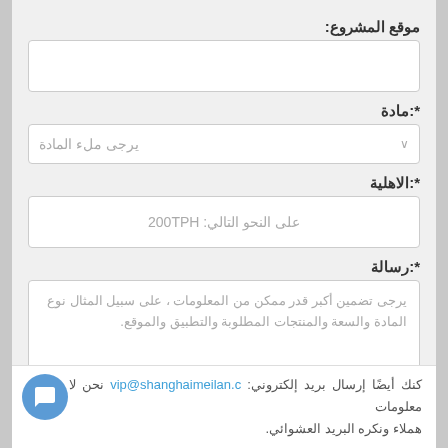موقع المشروع:
مادة:*
يرجى ملء المادة
الاهلية:*
على النحو التالي: 200TPH
رسالة:*
يرجى تضمين أكبر قدر ممكن من المعلومات ، على سبيل المثال نوع المادة والسعة والمنتجات المطلوبة والتطبيق والموقع.
كنك أيضًا إرسال بريد إلكتروني: vip@shanghaimeilan.c نحن لا نشارك معلومات هملاء ونكره البريد العشوائي.